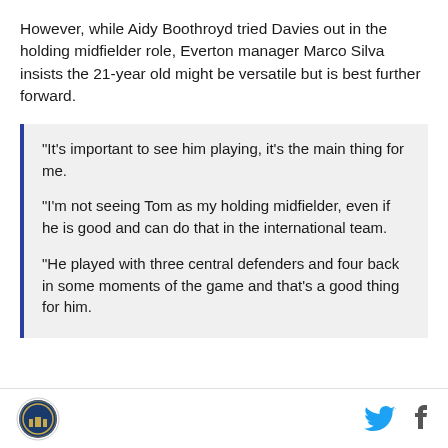However, while Aidy Boothroyd tried Davies out in the holding midfielder role, Everton manager Marco Silva insists the 21-year old might be versatile but is best further forward.
“It’s important to see him playing, it’s the main thing for me. "I’m not seeing Tom as my holding midfielder, even if he is good and can do that in the international team. “He played with three central defenders and four back in some moments of the game and that’s a good thing for him.